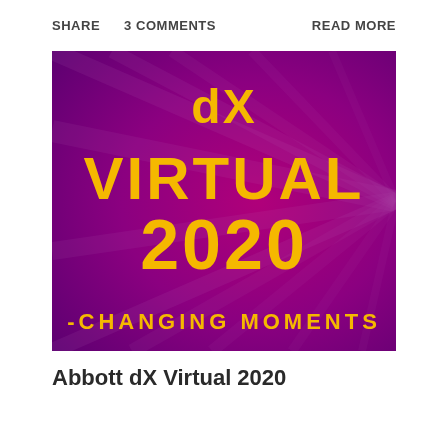SHARE   3 COMMENTS   READ MORE
[Figure (illustration): Promotional banner image with purple/magenta gradient background and radiating light beams. Large yellow bold text reads: dX VIRTUAL 2020 -CHANGING MOMENTS]
Abbott dX Virtual 2020